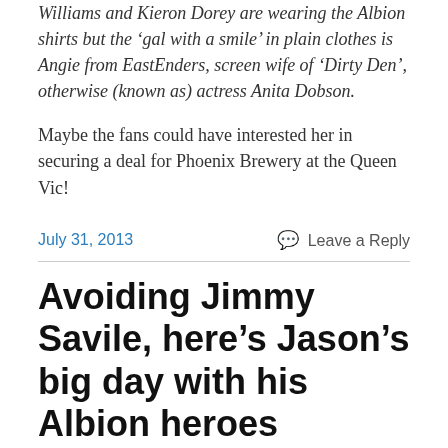Williams and Kieron Dorey are wearing the Albion shirts but the 'gal with a smile' in plain clothes is Angie from EastEnders, screen wife of 'Dirty Den', otherwise (known as) actress Anita Dobson.
Maybe the fans could have interested her in securing a deal for Phoenix Brewery at the Queen Vic!
July 31, 2013    💬 Leave a Reply
Avoiding Jimmy Savile, here's Jason's big day with his Albion heroes
In the 1970s and 1980s, the Evening Argus newspaper was living in the dark ages compared with the lesser